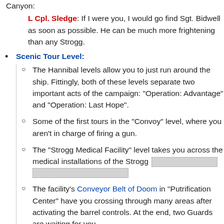Canyon:
L Cpl. Sledge: If I were you, I would go find Sgt. Bidwell as soon as possible. He can be much more frightening than any Strogg.
Scenic Tour Level:
The Hannibal levels allow you to just run around the ship. Fittingly, both of these levels separate two important acts of the campaign: "Operation: Advantage" and "Operation: Last Hope".
Some of the first tours in the "Convoy" level, where you aren't in charge of firing a gun.
The "Strogg Medical Facility" level takes you across the medical installations of the Strogg [redacted]
The facility's Conveyor Belt of Doom in "Putrification Center" have you crossing through many areas after activating the barrel controls. At the end, two Guards are waiting for you.
Second Hour Superpower: Kane gains